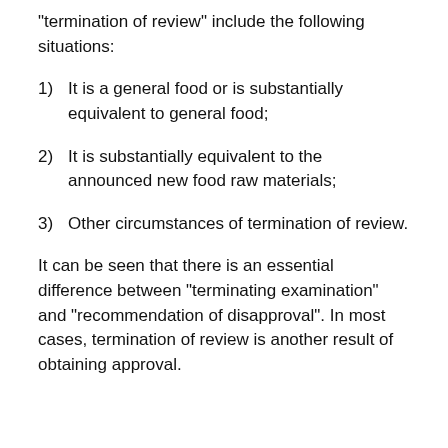"termination of review" include the following situations:
1)  It is a general food or is substantially equivalent to general food;
2)  It is substantially equivalent to the announced new food raw materials;
3)  Other circumstances of termination of review.
It can be seen that there is an essential difference between "terminating examination" and "recommendation of disapproval". In most cases, termination of review is another result of obtaining approval.